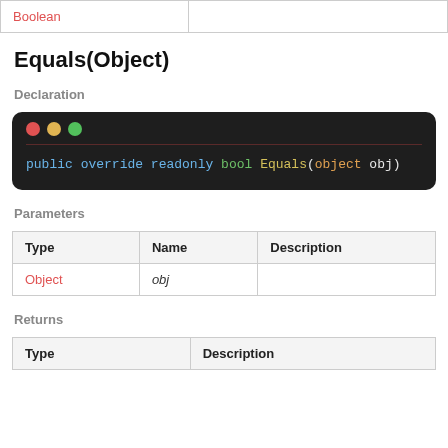| Type |  |
| --- | --- |
| Boolean |  |
Equals(Object)
Declaration
[Figure (screenshot): Dark code block showing: public override readonly bool Equals(object obj)]
Parameters
| Type | Name | Description |
| --- | --- | --- |
| Object | obj |  |
Returns
| Type | Description |
| --- | --- |